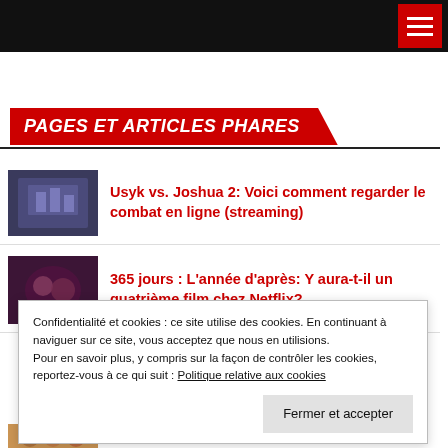Navigation bar with hamburger menu
PAGES ET ARTICLES PHARES
Usyk vs. Joshua 2: Voici comment regarder le combat en ligne (streaming)
365 jours : L’année d’après: Y aura-t-il un quatrième film chez Netflix?
Confidentialité et cookies : ce site utilise des cookies. En continuant à naviguer sur ce site, vous acceptez que nous en utilisions.
Pour en savoir plus, y compris sur la façon de contrôler les cookies, reportez-vous à ce qui suit : Politique relative aux cookies
Fermer et accepter
Poursuis tes rêves: la saison 3 de la série